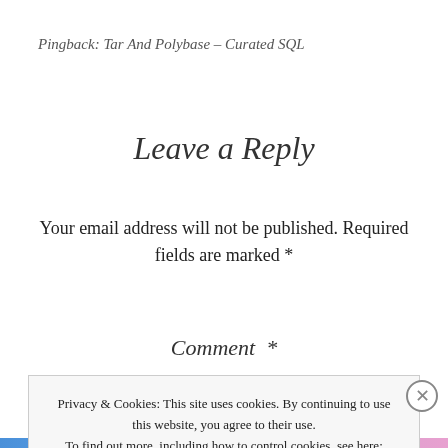Pingback: Tar And Polybase – Curated SQL
Leave a Reply
Your email address will not be published. Required fields are marked *
Comment *
Privacy & Cookies: This site uses cookies. By continuing to use this website, you agree to their use. To find out more, including how to control cookies, see here: Cookie Policy
Close and accept